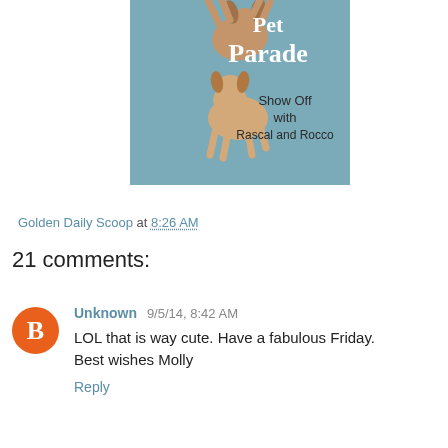[Figure (illustration): A blue-teal colored image with two dogs, one hanging upside down and one below, with text reading 'Pet Parade Show Off with Rascal and Rocco']
Golden Daily Scoop at 8:26 AM
21 comments:
Unknown 9/5/14, 8:42 AM
LOL that is way cute. Have a fabulous Friday. Best wishes Molly
Reply